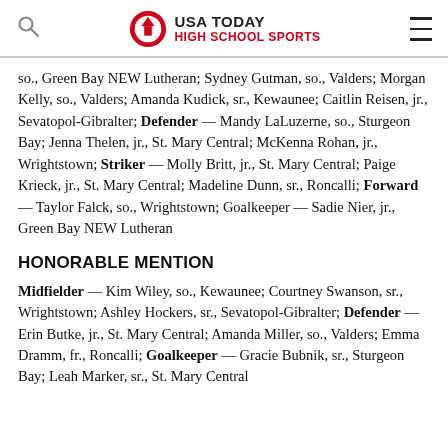USA TODAY HIGH SCHOOL SPORTS
so., Green Bay NEW Lutheran; Sydney Gutman, so., Valders; Morgan Kelly, so., Valders; Amanda Kudick, sr., Kewaunee; Caitlin Reisen, jr., Sevatopol-Gibralter; Defender — Mandy LaLuzerne, so., Sturgeon Bay; Jenna Thelen, jr., St. Mary Central; McKenna Rohan, jr., Wrightstown; Striker — Molly Britt, jr., St. Mary Central; Paige Krieck, jr., St. Mary Central; Madeline Dunn, sr., Roncalli; Forward — Taylor Falck, so., Wrightstown; Goalkeeper — Sadie Nier, jr., Green Bay NEW Lutheran
HONORABLE MENTION
Midfielder — Kim Wiley, so., Kewaunee; Courtney Swanson, sr., Wrightstown; Ashley Hockers, sr., Sevatopol-Gibralter; Defender — Erin Butke, jr., St. Mary Central; Amanda Miller, so., Valders; Emma Dramm, fr., Roncalli; Goalkeeper — Gracie Bubnik, sr., Sturgeon Bay; Leah Marker, sr., St. Mary Central